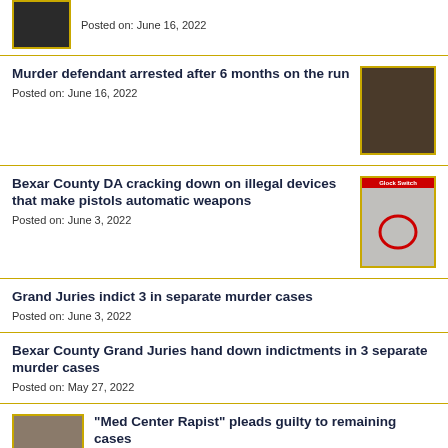[Figure (photo): Partial thumbnail photo of a person, yellow border, top of page]
Posted on: June 16, 2022
Murder defendant arrested after 6 months on the run
Posted on: June 16, 2022
[Figure (photo): Dark photo of a man's face, yellow border]
Bexar County DA cracking down on illegal devices that make pistols automatic weapons
Posted on: June 3, 2022
[Figure (photo): Image of a gun/pistol with red circle highlight and red banner text 'Glock Switch', yellow border]
Grand Juries indict 3 in separate murder cases
Posted on: June 3, 2022
Bexar County Grand Juries hand down indictments in 3 separate murder cases
Posted on: May 27, 2022
[Figure (photo): Mugshot of a person, yellow border, partially visible at bottom]
"Med Center Rapist" pleads guilty to remaining cases